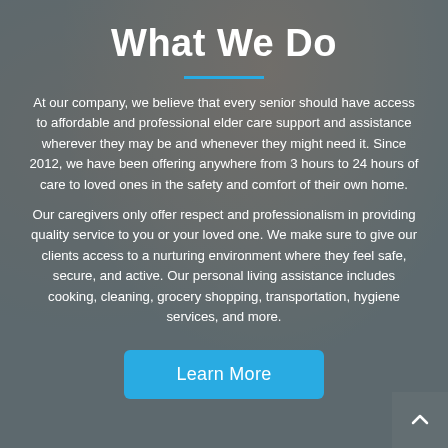What We Do
At our company, we believe that every senior should have access to affordable and professional elder care support and assistance wherever they may be and whenever they might need it. Since 2012, we have been offering anywhere from 3 hours to 24 hours of care to loved ones in the safety and comfort of their own home.
Our caregivers only offer respect and professionalism in providing quality service to you or your loved one. We make sure to give our clients access to a nurturing environment where they feel safe, secure, and active. Our personal living assistance includes cooking, cleaning, grocery shopping, transportation, hygiene services, and more.
Learn More